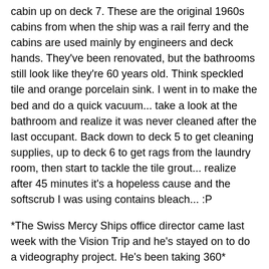cabin up on deck 7. These are the original 1960s cabins from when the ship was a rail ferry and the cabins are used mainly by engineers and deck hands. They've been renovated, but the bathrooms still look like they're 60 years old. Think speckled tile and orange porcelain sink. I went in to make the bed and do a quick vacuum... take a look at the bathroom and realize it was never cleaned after the last occupant. Back down to deck 5 to get cleaning supplies, up to deck 6 to get rags from the laundry room, then start to tackle the tile grout... realize after 45 minutes it's a hopeless cause and the softscrub I was using contains bleach... :P
*The Swiss Mercy Ships office director came last week with the Vision Trip and he's stayed on to do a videography project. He's been taking 360* pictures of many different places on the ship for use on the new Swiss Mercy Ships site. (Think Google Maps street view. You can use your mouse to scroll all the way around, then click farther down the road, you jump to there and you can do another 360* there). He'd come into the Hospitality office yesterday in search of a new pillowcase or towel or something and started telling us about the project. We all admitted that it would be nice to have a shot of a 6 berth cabin, the youtube